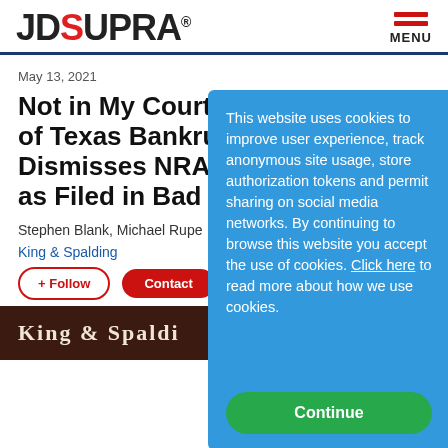JD Supra
May 13, 2021
Not in My Court: Northern District of Texas Bankruptcy Court Dismisses NRA Bankruptcy as Filed in Bad Faith
Stephen Blank, Michael Rupe
King & Spalding
+ Follow   Contact
[Figure (logo): King & Spalding law firm banner in dark brown]
This website uses cookies to improve user experience, track anonymous site usage, store authorization tokens and permit sharing on social media networks. By continuing to browse this website you accept the use of cookies. Click here to read more about how we use cookies.
Continue